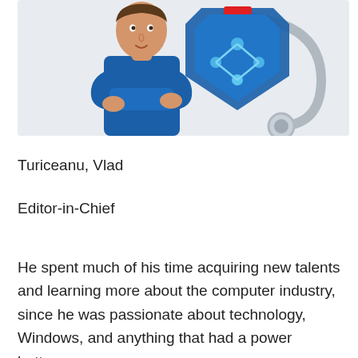[Figure (illustration): Illustration of a doctor or medical professional in blue scrubs with arms crossed, standing in front of a shield/health icon with network/DNA-like graphic and stethoscope in the background.]
Turiceanu, Vlad
Editor-in-Chief
He spent much of his time acquiring new talents and learning more about the computer industry, since he was passionate about technology, Windows, and anything that had a power button.